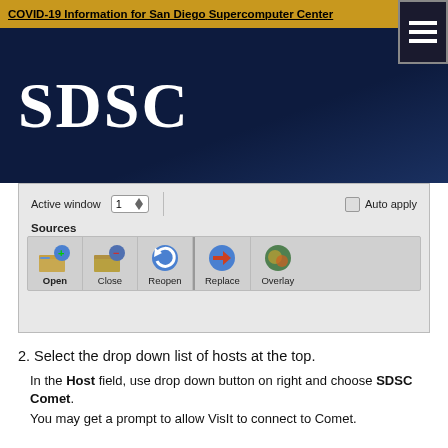COVID-19 Information for San Diego Supercomputer Center
[Figure (logo): SDSC logo in white on dark navy background]
[Figure (screenshot): VisIt application window showing Sources toolbar with Active window set to 1, Auto apply checkbox, and source buttons: Open, Close, Reopen, Replace, Overlay]
2. Select the drop down list of hosts at the top.
In the Host field, use drop down button on right and choose SDSC Comet.
You may get a prompt to allow VisIt to connect to Comet.